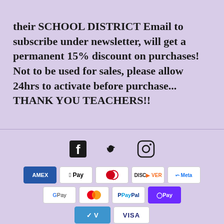their SCHOOL DISTRICT Email to subscribe under newsletter, will get a permanent 15% discount on purchases! Not to be used for sales, please allow 24hrs to activate before purchase... THANK YOU TEACHERS!!
[Figure (infographic): Social media icons: Facebook, Twitter, Instagram]
[Figure (infographic): Payment method icons: Amex, Apple Pay, Diners, Discover, Meta, Google Pay, Mastercard, PayPal, OPay, Venmo, Visa]
© 2022, Escape Into Fiction  Powered by Shopify